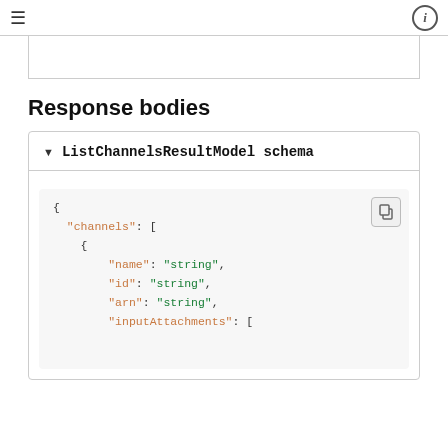☰  [navigation header]  ⓘ
Response bodies
▼ ListChannelsResultModel schema
{
    "channels": [
        {
            "name": "string",
            "id": "string",
            "arn": "string",
            "inputAttachments": [